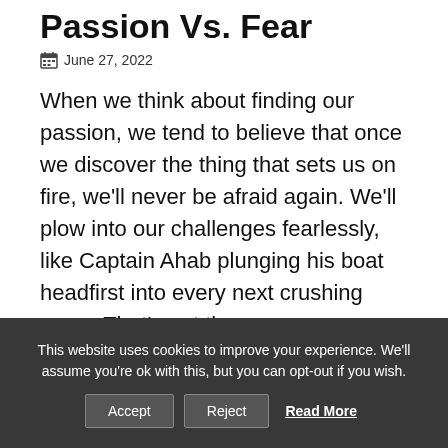Passion Vs. Fear
June 27, 2022
When we think about finding our passion, we tend to believe that once we discover the thing that sets us on fire, we'll never be afraid again. We'll plow into our challenges fearlessly, like Captain Ahab plunging his boat headfirst into every next crushing wave. That's not the case.
This website uses cookies to improve your experience. We'll assume you're ok with this, but you can opt-out if you wish.